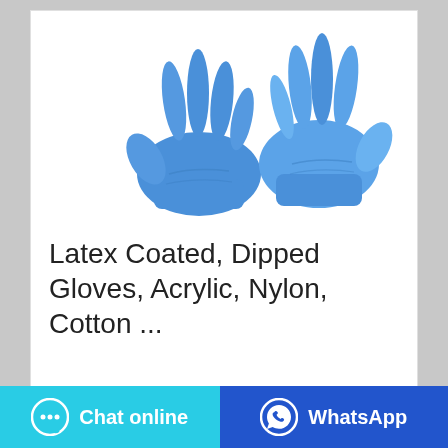[Figure (photo): Two blue latex/nitrile gloves displayed on white background]
Latex Coated, Dipped Gloves, Acrylic, Nylon, Cotton ...
Chat online
WhatsApp